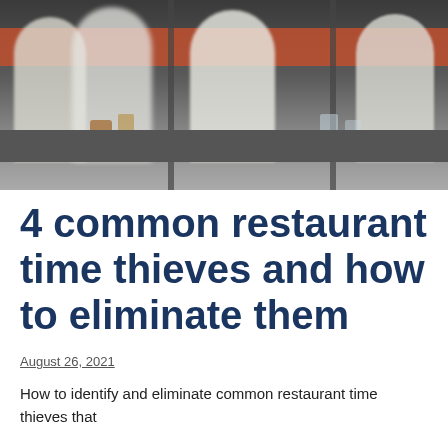[Figure (photo): Blurred motion photo of restaurant/bar staff in white shirts working behind a counter, serving drinks and food. Orange accent wall visible in background.]
4 common restaurant time thieves and how to eliminate them
August 26, 2021
How to identify and eliminate common restaurant time thieves that